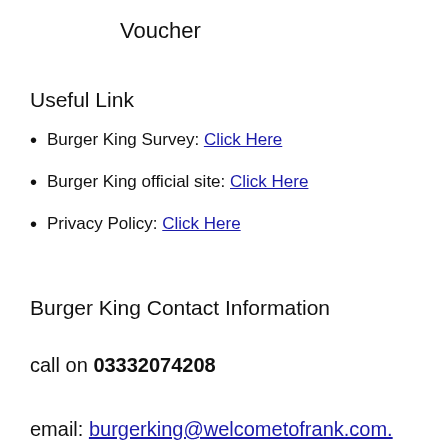Voucher
Useful Link
Burger King Survey: Click Here
Burger King official site: Click Here
Privacy Policy: Click Here
Burger King Contact Information
call on 03332074208
email: burgerking@welcometofrank.com.